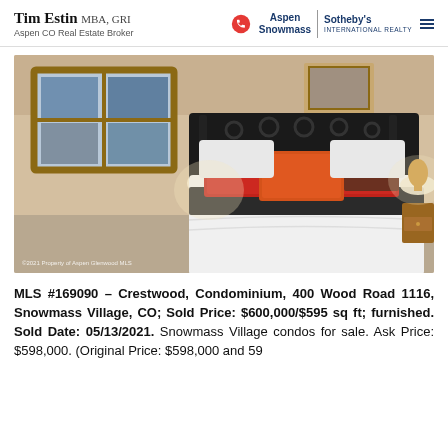Tim Estin MBA, GRI | Aspen CO Real Estate Broker | Aspen Snowmass | Sotheby's International Realty
[Figure (photo): Interior bedroom photo showing a bed with white linens, black accent runner, red and orange decorative pillows, iron headboard, two nightstands with lamps, and a window with mountain view.]
©2021 Property of Aspen Glenwood MLS
MLS #169090 – Crestwood, Condominium, 400 Wood Road 1116, Snowmass Village, CO; Sold Price: $600,000/$595 sq ft; furnished. Sold Date: 05/13/2021. Snowmass Village condos for sale. Ask Price: $598,000. (Original Price: $598,000 and 59